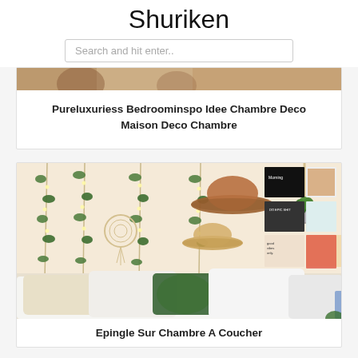Shuriken
Search and hit enter..
[Figure (photo): Partial view of a boho bedroom with warm tones]
Pureluxuriess Bedroominspo Idee Chambre Deco Maison Deco Chambre
[Figure (photo): Boho bedroom with ivy garlands, fairy lights, hats on wall, macrame plant hanger, white bedding with pillows, and motivational posters]
Epingle Sur Chambre A Coucher